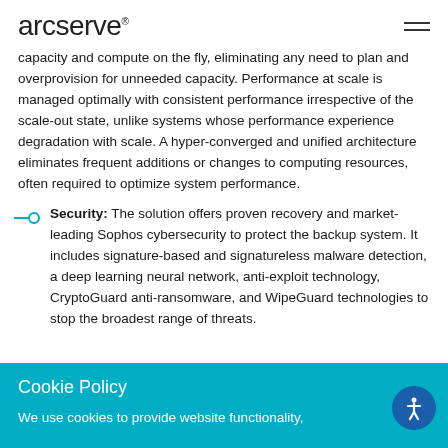arcserve
capacity and compute on the fly, eliminating any need to plan and overprovision for unneeded capacity. Performance at scale is managed optimally with consistent performance irrespective of the scale-out state, unlike systems whose performance experience degradation with scale. A hyper-converged and unified architecture eliminates frequent additions or changes to computing resources, often required to optimize system performance.
Security: The solution offers proven recovery and market-leading Sophos cybersecurity to protect the backup system. It includes signature-based and signatureless malware detection, a deep learning neural network, anti-exploit technology, CryptoGuard anti-ransomware, and WipeGuard technologies to stop the broadest range of threats.
ions can back up data on                d
Cookie Policy
We use cookies to provide website functionality,